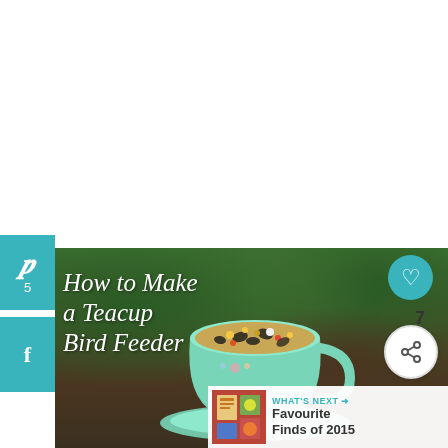[Figure (photo): Blog post screenshot showing a teacup bird feeder filled with bird seed, set against a green tree background. Social sharing buttons (Pinterest with count 5, Facebook) on the left. Heart button with count 7 and share button on the right. Title overlay reads 'How to Make a Teacup Bird Feeder'. A 'What's Next' panel in the bottom right shows 'Favourite Finds of 2015'.]